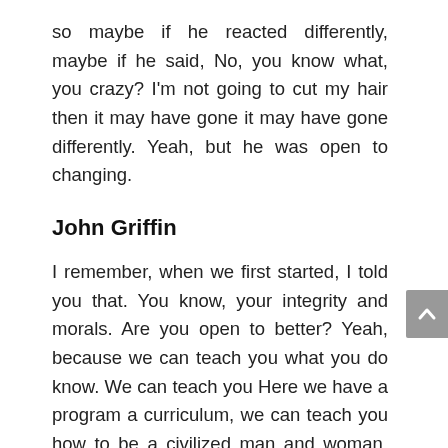so maybe if he reacted differently, maybe if he said, No, you know what, you crazy? I'm not going to cut my hair then it may have gone it may have gone differently. Yeah, but he was open to changing.
John Griffin
I remember, when we first started, I told you that. You know, your integrity and morals. Are you open to better? Yeah, because we can teach you what you do know. We can teach you Here we have a program a curriculum, we can teach you how to be a civilized man and woman. We can teach you that. But if you're not open to it